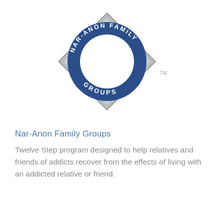[Figure (logo): Nar-Anon Family Groups logo: a gray diamond shape with a blue circle ring on top containing white text 'NAR-ANON FAMILY GROUPS' and a white center circle. TM mark to the right.]
Nar-Anon Family Groups
Twelve Step program designed to help relatives and friends of addicts recover from the effects of living with an addicted relative or friend.